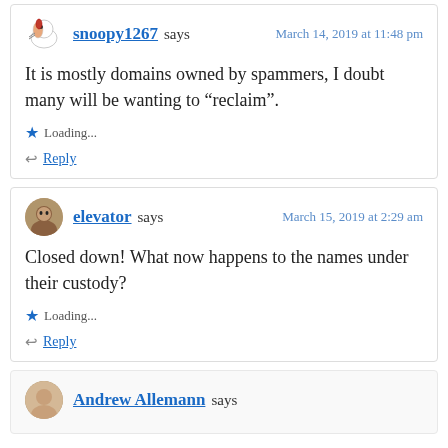snoopy1267 says   March 14, 2019 at 11:48 pm
It is mostly domains owned by spammers, I doubt many will be wanting to “reclaim”.
Loading...
Reply
elevator says   March 15, 2019 at 2:29 am
Closed down! What now happens to the names under their custody?
Loading...
Reply
Andrew Allemann says